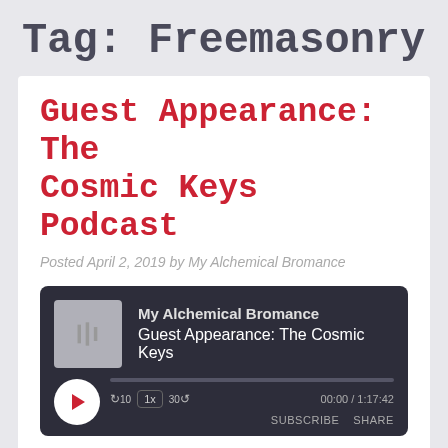Tag: Freemasonry
Guest Appearance: The Cosmic Keys Podcast
Posted April 2, 2019 by My Alchemical Bromance
[Figure (screenshot): Podcast audio player widget with dark background showing My Alchemical Bromance podcast, episode Guest Appearance: The Cosmic Keys, with play button, progress bar, speed controls (10 back, 1x, 30 forward), time display 00:00 / 1:17:42, SUBSCRIBE and SHARE buttons.]
Download file | Play in new window | Duration: 1:17:42 | Speaker: Erik L. Arneson